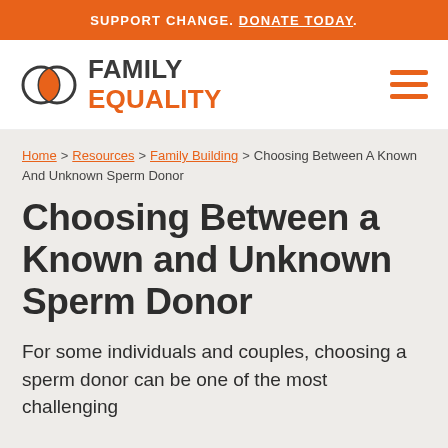SUPPORT CHANGE. DONATE TODAY.
[Figure (logo): Family Equality logo with two overlapping circles icon and the text FAMILY EQUALITY, EQUALITY in orange]
Home > Resources > Family Building > Choosing Between A Known And Unknown Sperm Donor
Choosing Between a Known and Unknown Sperm Donor
For some individuals and couples, choosing a sperm donor can be one of the most challenging